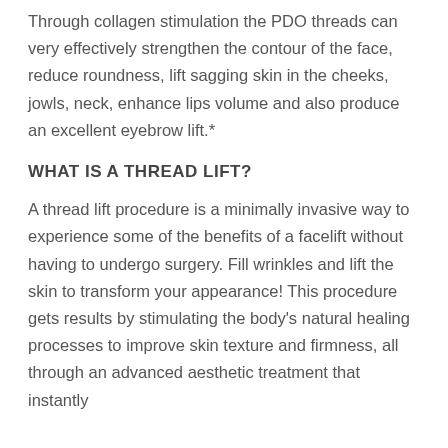Through collagen stimulation the PDO threads can very effectively strengthen the contour of the face, reduce roundness, lift sagging skin in the cheeks, jowls, neck, enhance lips volume and also produce an excellent eyebrow lift.*
WHAT IS A THREAD LIFT?
A thread lift procedure is a minimally invasive way to experience some of the benefits of a facelift without having to undergo surgery. Fill wrinkles and lift the skin to transform your appearance! This procedure gets results by stimulating the body's natural healing processes to improve skin texture and firmness, all through an advanced aesthetic treatment that instantly